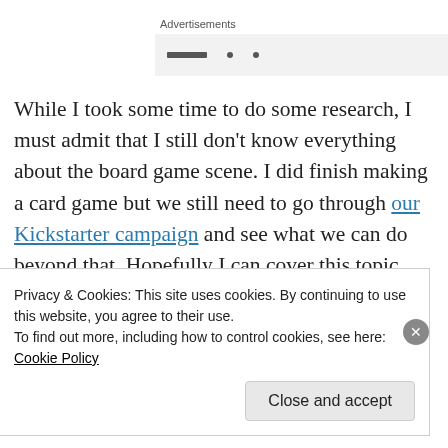Advertisements
[Figure (other): Gray advertisement placeholder box with partial dark bars/marks visible]
While I took some time to do some research, I must admit that I still don't know everything about the board game scene. I did finish making a card game but we still need to go through our Kickstarter campaign and see what we can do beyond that. Hopefully I can cover this topic further in a future post.
Privacy & Cookies: This site uses cookies. By continuing to use this website, you agree to their use.
To find out more, including how to control cookies, see here: Cookie Policy